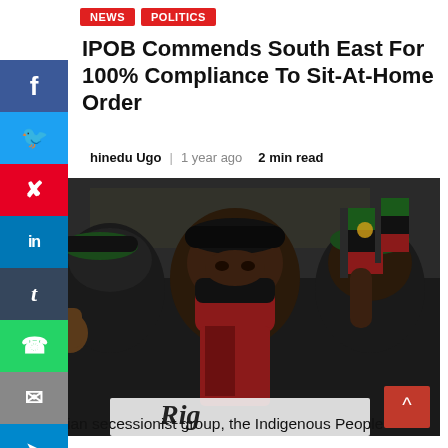NEWS | POLITICS
IPOB Commends South East For 100% Compliance To Sit-At-Home Order
Chinedu Ugo   1 year ago   2 min read
[Figure (photo): IPOB members at a protest rally wearing red/black/green Biafra colors, face masks, berets, holding Biafran flags. Man in foreground raises fist.]
Nigerian secessionist group, the Indigenous People